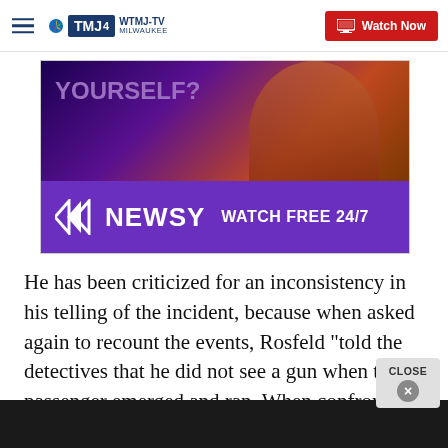WTMJ-TV Milwaukee | Watch Now
[Figure (photo): Newsy advertisement banner with 'YOURSELF?' text and performer photo on top, purple Newsy logo bar on bottom with 'WATCH FREE 24/7' text]
He has been criticized for an inconsistency in his telling of the incident, because when asked again to recount the events, Rosfeld "told the detectives that he did not see a gun when the passenger emerged and ran. When confronted with this inconsistency, Rosfeld